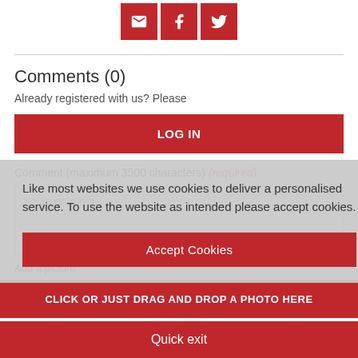[Figure (infographic): Three red social share buttons: email (envelope icon), Facebook (f icon), Twitter (bird icon)]
Comments (0)
Already registered with us? Please
LOG IN
Comment (maximum 3500 characters) (required)
Your comment
Add a picture
CLICK OR JUST DRAG AND DROP A PHOTO HERE
Like most websites we use cookies to deliver a personalised service. To use the website as intended please accept cookies.
Accept Cookies
Quick exit